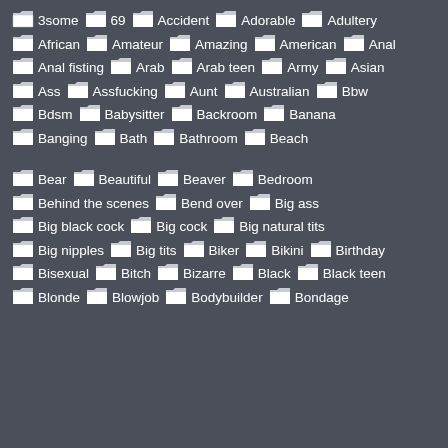3some  69  Accident  Adorable  Adultery
African  Amateur  Amazing  American  Anal
Anal fisting  Arab  Arab teen  Army  Asian
Ass  Assfucking  Aunt  Australian  Bbw
Bdsm  Babysitter  Backroom  Banana
Banging  Bath  Bathroom  Beach
Bear  Beautiful  Beaver  Bedroom
Behind the scenes  Bend over  Big ass
Big black cock  Big cock  Big natural tits
Big nipples  Big tits  Biker  Bikini  Birthday
Bisexual  Bitch  Bizarre  Black  Black teen
Blonde  Blowjob  Bodybuilder  Bondage